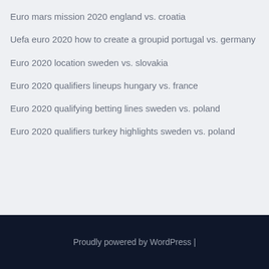Euro mars mission 2020 england vs. croatia
Uefa euro 2020 how to create a groupid portugal vs. germany
Euro 2020 location sweden vs. slovakia
Euro 2020 qualifiers lineups hungary vs. france
Euro 2020 qualifying betting lines sweden vs. poland
Euro 2020 qualifiers turkey highlights sweden vs. poland
Proudly powered by WordPress |